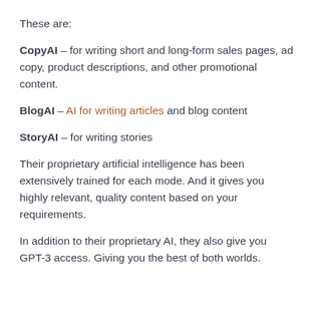These are:
CopyAI – for writing short and long-form sales pages, ad copy, product descriptions, and other promotional content.
BlogAI – AI for writing articles and blog content
StoryAI – for writing stories
Their proprietary artificial intelligence has been extensively trained for each mode. And it gives you highly relevant, quality content based on your requirements.
In addition to their proprietary AI, they also give you GPT-3 access. Giving you the best of both worlds.